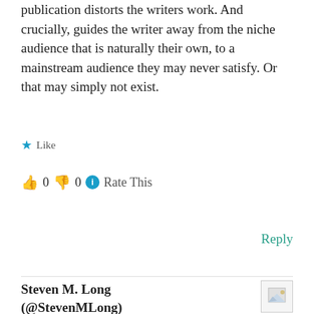publication distorts the writers work. And crucially, guides the writer away from the niche audience that is naturally their own, to a mainstream audience they may never satisfy. Or that may simply not exist.
★ Like
👍 0 👎 0 ℹ Rate This
Reply
Steven M. Long (@StevenMLong)
July 13, 2014 at 4:12 pm